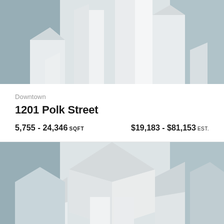[Figure (illustration): Abstract geometric building/architecture graphic with light gray and blue-gray angular shapes forming a stylized skyline, used as a property listing card header image.]
Downtown
1201 Polk Street
5,755 - 24,346 SQFT   $19,183 - $81,153 EST.
[Figure (illustration): Abstract geometric building/architecture graphic similar to the first, with light gray and blue-gray angular shapes forming a stylized skyline, used as the second property listing card header image.]